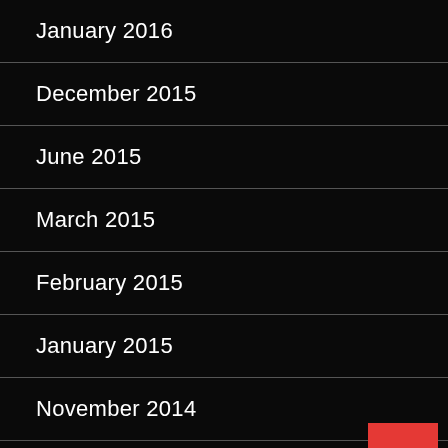January 2016
December 2015
June 2015
March 2015
February 2015
January 2015
November 2014
October 2014